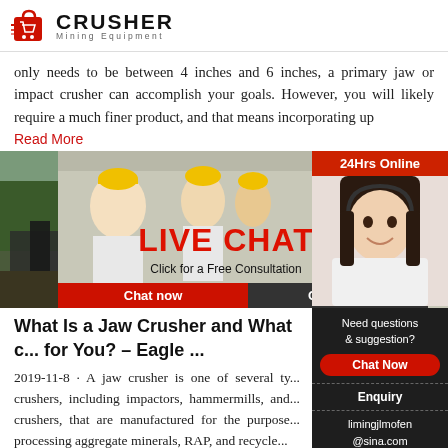CRUSHER Mining Equipment
only needs to be between 4 inches and 6 inches, a primary jaw or impact crusher can accomplish your goals. However, you will likely require a much finer product, and that means incorporating up
Read More
[Figure (screenshot): Live chat popup overlay with workers in hard hats, text LIVE CHAT, Click for a Free Consultation, Chat now and Chat later buttons]
[Figure (photo): Mining equipment machinery photo on left side]
[Figure (photo): Customer service representative with headset on right sidebar, 24Hrs Online label]
What Is a Jaw Crusher and What c... for You? – Eagle ...
2019-11-8 · A jaw crusher is one of several ty... crushers, including impactors, hammermills, and... crushers, that are manufactured for the purpose... processing aggregate minerals, RAP, and recycle...
Need questions & suggestion?
Chat Now
Enquiry
limingjlmofen@sina.com